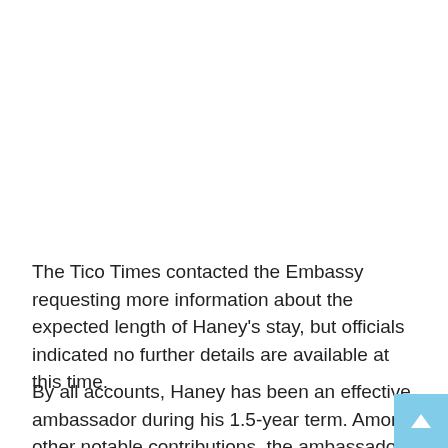The Tico Times contacted the Embassy requesting more information about the expected length of Haney's stay, but officials indicated no further details are available at this time.
By all accounts, Haney has been an effective ambassador during his 1.5-year term. Among other notable contributions, the ambassador has donated to local police efforts and has helped facilitate key talks between U.S. and Costa Rican politicians during the recent Cuban migrant crisis.